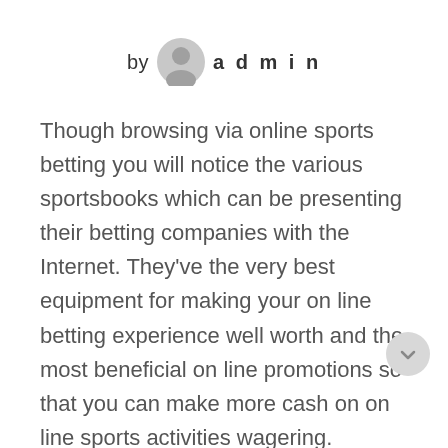[Figure (illustration): Author avatar icon (grey circular person silhouette) with 'by admin' text]
Though browsing via online sports betting you will notice the various sportsbooks which can be presenting their betting companies with the Internet. They've the very best equipment for making your on line betting experience well worth and the most beneficial on line promotions so that you can make more cash on on line sports activities wagering.
Several on the net sports activities betting internet sites give you Unique signup bonuses